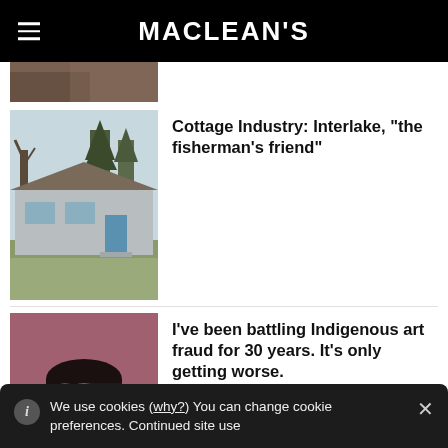MACLEAN'S
[Figure (photo): Partial cropped image at top, partially visible]
[Figure (photo): Photo of a single-story house with trees in background]
Cottage Industry: Interlake, "the fisherman's friend"
[Figure (photo): Portrait of a man against a pinkish-red background]
I've been battling Indigenous art fraud for 30 years. It's only getting worse.
We use cookies (why?) You can change cookie preferences. Continued site use